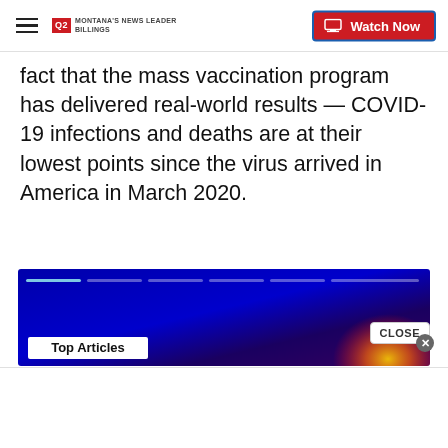Q2 Montana's News Leader Billings | Watch Now
fact that the mass vaccination program has delivered real-world results — COVID-19 infections and deaths are at their lowest points since the virus arrived in America in March 2020.
"Folks, we're heading into a very different summer from last year. A bright summer, one filled with hope," Biden said.
Shown: Stories from ktvq.com
[Figure (screenshot): Top Articles banner with blue/purple gradient background, progress bar segments, glowing orb in bottom right, and white Top Articles label in bottom left]
CLOSE